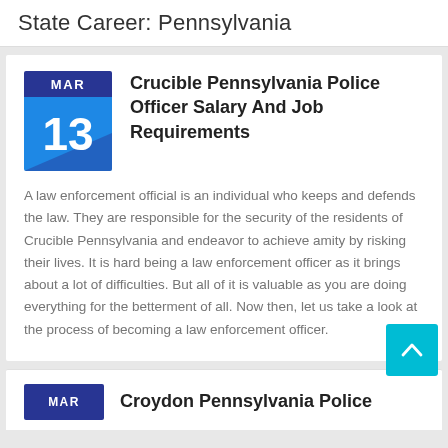State Career: Pennsylvania
Crucible Pennsylvania Police Officer Salary And Job Requirements
A law enforcement official is an individual who keeps and defends the law. They are responsible for the security of the residents of Crucible Pennsylvania and endeavor to achieve amity by risking their lives. It is hard being a law enforcement officer as it brings about a lot of difficulties. But all of it is valuable as you are doing everything for the betterment of all. Now then, let us take a look at the process of becoming a law enforcement officer.
Croydon Pennsylvania Police